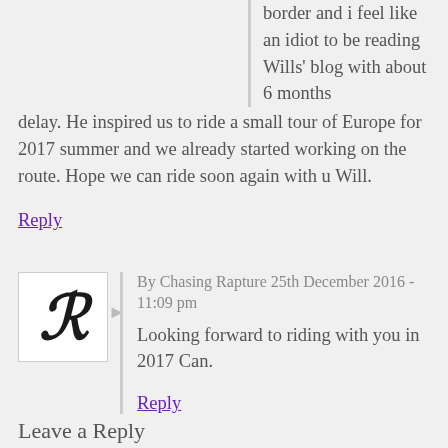border and i feel like an idiot to be reading Wills' blog with about 6 months delay. He inspired us to ride a small tour of Europe for 2017 summer and we already started working on the route. Hope we can ride soon again with u Will.
Reply
By Chasing Rapture 25th December 2016 - 11:09 pm
Looking forward to riding with you in 2017 Can.
Reply
Leave a Reply